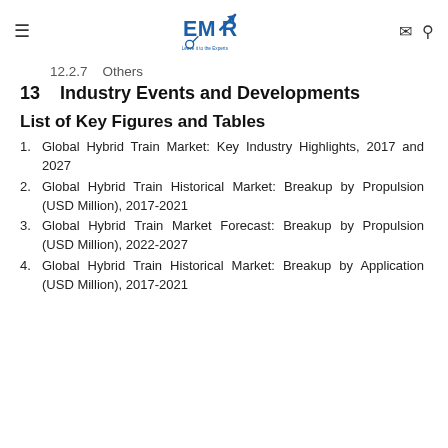EMR — Leave it to the Experts
12.2.7    Others
13    Industry Events and Developments
List of Key Figures and Tables
1.    Global Hybrid Train Market: Key Industry Highlights, 2017 and 2027
2.    Global Hybrid Train Historical Market: Breakup by Propulsion (USD Million), 2017-2021
3.    Global Hybrid Train Market Forecast: Breakup by Propulsion (USD Million), 2022-2027
4.    Global Hybrid Train Historical Market: Breakup by Application (USD Million), 2017-2021